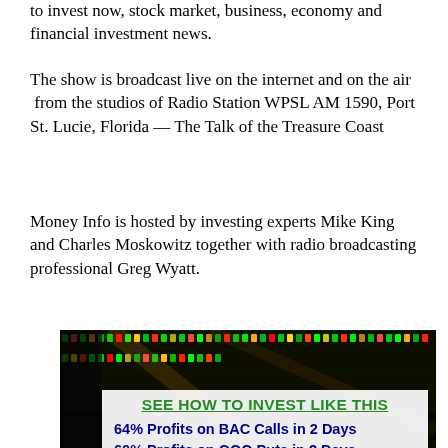to invest now, stock market, business, economy and financial investment news.
The show is broadcast live on the internet and on the air from the studios of Radio Station WPSL AM 1590, Port St. Lucie, Florida — The Talk of the Treasure Coast
Money Info is hosted by investing experts Mike King and Charles Moskowitz together with radio broadcasting professional Greg Wyatt.
[Figure (infographic): Stock market ticker board background image with an overlaid white box containing the heading 'SEE HOW TO INVEST LIKE THIS' in green bold underlined text, followed by a list of investment profit results in dark blue bold text: 64% Profits on BAC Calls in 2 Days, 60% Profits on QQQ Puts in 2 Days, 150% Profits on SIG Puts in 3 Days, 48% Profits on SPY Calls in 2 Days, 92% Profits on VA Calls in 6 Days, 157% Profits on TBT Calls in 17 Days, 100% Profits on NE Calls in 2 Days]